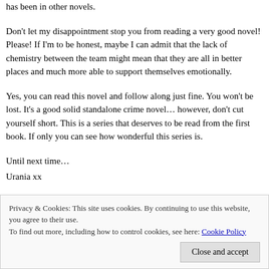has been in other novels.
Don't let my disappointment stop you from reading a very good novel! Please! If I'm to be honest, maybe I can admit that the lack of chemistry between the team might mean that they are all in better places and much more able to support themselves emotionally.
Yes, you can read this novel and follow along just fine. You won't be lost. It's a good solid standalone crime novel… however, don't cut yourself short. This is a series that deserves to be read from the first book. If only you can see how wonderful this series is.
Until next time…
Urania xx
Privacy & Cookies: This site uses cookies. By continuing to use this website, you agree to their use.
To find out more, including how to control cookies, see here: Cookie Policy
Close and accept